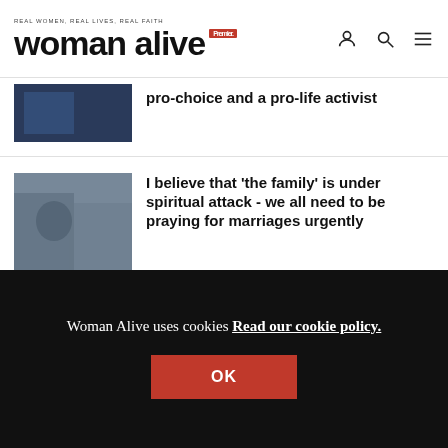REAL WOMEN, REAL LIVES, REAL FAITH | woman alive | Premier
pro-choice and a pro-life activist
I believe that ‘the family’ is under spiritual attack - we all need to be praying for marriages urgently
It’s dangerous to hide dating from your church community, it means people can cheat without accountability and it’s time to
Woman Alive uses cookies Read our cookie policy.
OK